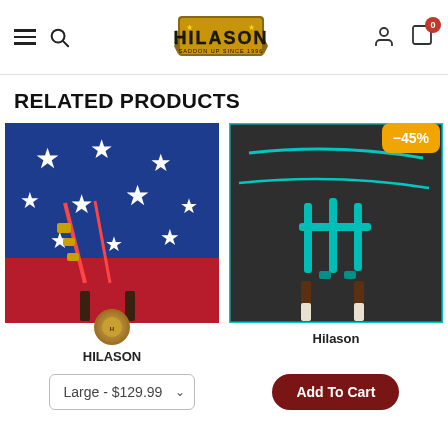[Figure (screenshot): Hilason e-commerce website header with hamburger menu, search icon, Hilason logo, user icon, and cart icon with badge showing 0]
RELATED PRODUCTS
[Figure (photo): Horse wearing blue and red blanket/rug with white stars pattern, straps visible]
[Figure (photo): Horse wearing black blanket/rug with teal/turquoise trim and straps, discount badge -45%]
HILASON
Hilason
Large - $129.99
Add To Cart